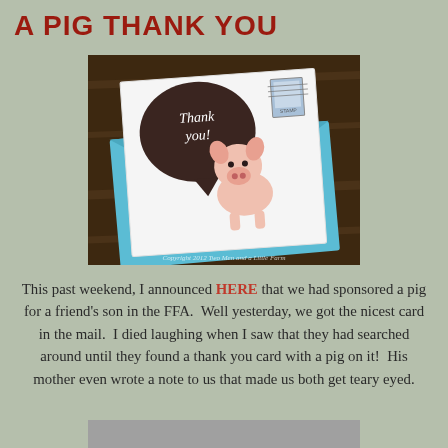A PIG THANK YOU
[Figure (photo): A thank you card featuring a cute baby pig with a speech bubble saying 'Thank you!' placed on top of a blue envelope on a wooden table. A postage stamp is visible. Copyright 2012 Two Men and a Little Farm.]
This past weekend, I announced HERE that we had sponsored a pig for a friend's son in the FFA.  Well yesterday, we got the nicest card in the mail.  I died laughing when I saw that they had searched around until they found a thank you card with a pig on it!  His mother even wrote a note to us that made us both get teary eyed.
[Figure (photo): Partial image at the bottom of the page, appears to be another photo, mostly cut off.]